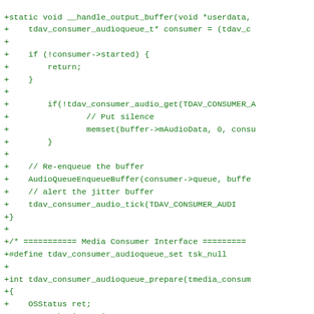[Figure (screenshot): Code diff showing C source code additions (lines prefixed with +) for audio consumer functions including __handle_output_buffer, tdav_consumer_audioqueue_prepare, with green monospace text on white background]